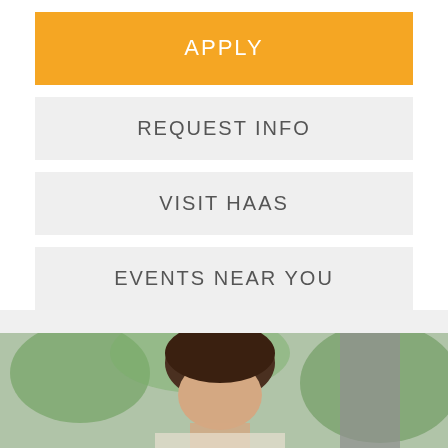APPLY
REQUEST INFO
VISIT HAAS
EVENTS NEAR YOU
[Figure (photo): Partial view of a person's head and shoulders, appears to be a student or professional outdoors]